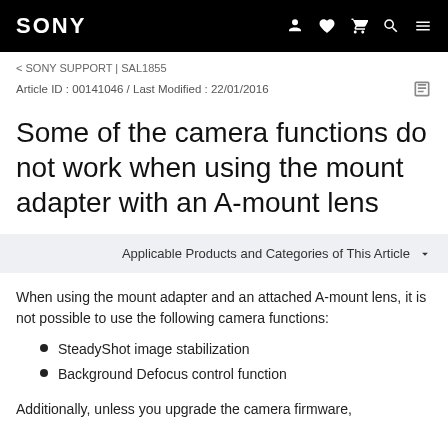SONY
< SONY SUPPORT | SAL1855
Article ID : 00141046 / Last Modified : 22/01/2016
Some of the camera functions do not work when using the mount adapter with an A-mount lens
Applicable Products and Categories of This Article
When using the mount adapter and an attached A-mount lens, it is not possible to use the following camera functions:
SteadyShot image stabilization
Background Defocus control function
Additionally, unless you upgrade the camera firmware,